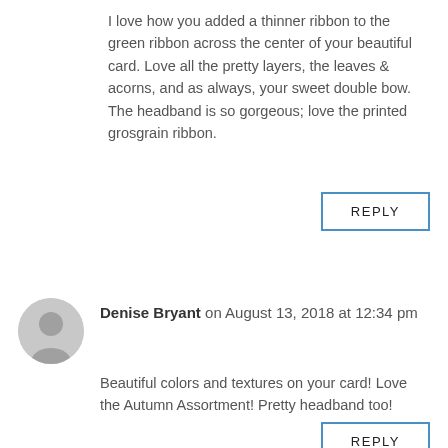I love how you added a thinner ribbon to the green ribbon across the center of your beautiful card. Love all the pretty layers, the leaves & acorns, and as always, your sweet double bow. The headband is so gorgeous; love the printed grosgrain ribbon.
REPLY
Denise Bryant on August 13, 2018 at 12:34 pm
Beautiful colors and textures on your card! Love the Autumn Assortment! Pretty headband too!
REPLY